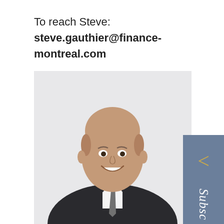To reach Steve: steve.gauthier@finance-montreal.com
[Figure (photo): Professional portrait photo of a middle-aged bald man in a dark business suit with a grey tie, smiling, against a light grey background]
Subsc